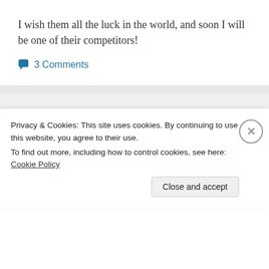I wish them all the luck in the world, and soon I will be one of their competitors!
3 Comments
Default Day for Greece is Now Either June 5 or June 12
Privacy & Cookies: This site uses cookies. By continuing to use this website, you agree to their use.
To find out more, including how to control cookies, see here: Cookie Policy